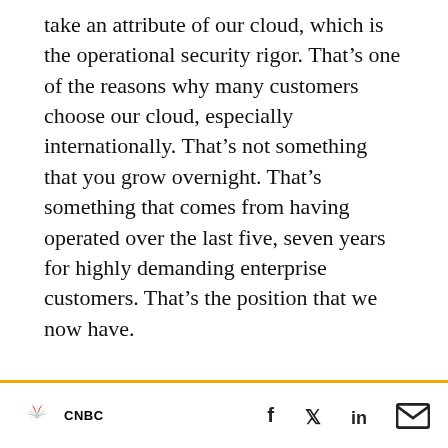take an attribute of our cloud, which is the operational security rigor. That's one of the reasons why many customers choose our cloud, especially internationally. That's not something that you grow overnight. That's something that comes from having operated over the last five, seven years for highly demanding enterprise customers. That's the position that we now have.
Fortt: And it's expensive to build this, right? Talk about what you think your competitive positioning is versus an Amazon, a Google, a VMware, in terms of your operation in places like China, and what it's going to take to succeed
CNBC